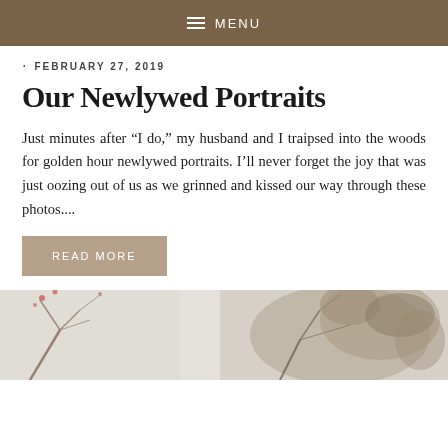MENU
· FEBRUARY 27, 2019
Our Newlywed Portraits
Just minutes after “I do,” my husband and I traipsed into the woods for golden hour newlywed portraits. I’ll never forget the joy that was just oozing out of us as we grinned and kissed our way through these photos....
READ MORE
[Figure (photo): Outdoor photo showing tree branches with sparse foliage against a light sky, partial view cropped at bottom of page]